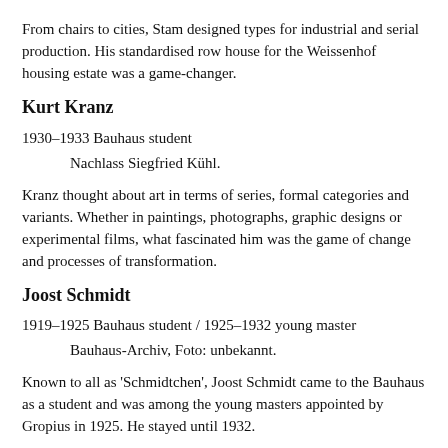From chairs to cities, Stam designed types for industrial and serial production. His standardised row house for the Weissenhof housing estate was a game-changer.
Kurt Kranz
1930–1933 Bauhaus student
Nachlass Siegfried Kühl.
Kranz thought about art in terms of series, formal categories and variants. Whether in paintings, photographs, graphic designs or experimental films, what fascinated him was the game of change and processes of transformation.
Joost Schmidt
1919–1925 Bauhaus student / 1925–1932 young master
Bauhaus-Archiv, Foto: unbekannt.
Known to all as 'Schmidtchen', Joost Schmidt came to the Bauhaus as a student and was among the young masters appointed by Gropius in 1925. He stayed until 1932.